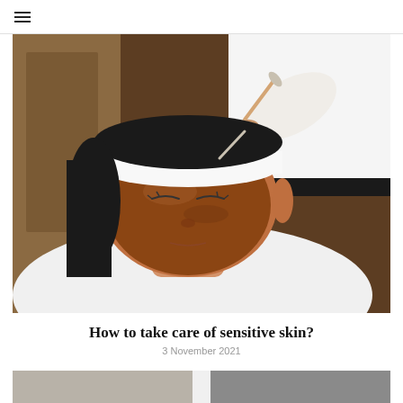≡
[Figure (photo): A woman lying reclined with a white headband and white robe, receiving a facial treatment. A therapist's hand holds a brush applying a brown/caramel colored mask to the woman's face. The setting appears to be a spa or beauty salon.]
How to take care of sensitive skin?
3 November 2021
[Figure (photo): Partially visible bottom strip showing another photo, cropped at the bottom of the page.]